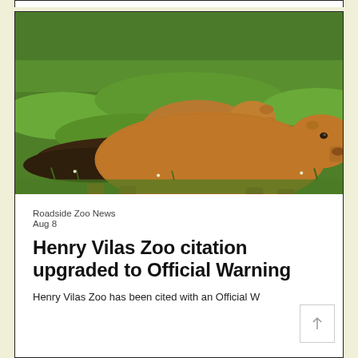[Figure (photo): Two capybaras resting on grass and dirt. The animals are large, brown, and sitting/lying on green grass with a patch of dark soil in front.]
Roadside Zoo News
Aug 8
Henry Vilas Zoo citation upgraded to Official Warning
Henry Vilas Zoo has been cited with an Official Warning after